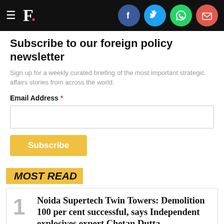F. [logo with social icons: Facebook, Twitter, WhatsApp, Email]
Subscribe to our foreign policy newsletter
Sign up for a weekly curated briefing of the most important strategic affairs stories from across the world.
Email Address *
MOST READ
Noida Supertech Twin Towers: Demolition 100 per cent successful, says Independent explosives expert Chetan Dutta
The Supertech twin towers came crashing down within a span of nearly nine seconds after the use of 3,700 kg explosives on Sunday, thus ending a nine-year-long legal battle